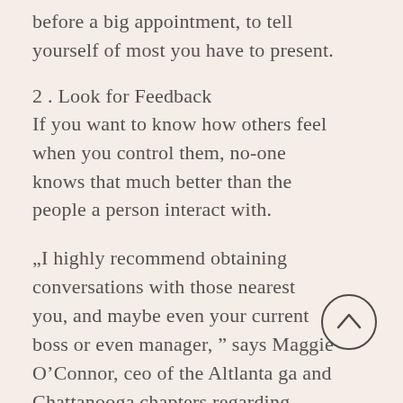before a big appointment, to tell yourself of most you have to present.
2 . Look for Feedback
If you want to know how others feel when you control them, no-one knows that much better than the people a person interact with.
„I highly recommend obtaining conversations with those nearest you, and maybe even your current boss or even manager, ” says Maggie O’Connor, ceo of the Altlanta ga and Chattanooga chapters regarding CULTURE LABx. Don’t be reluctant to ask for as well as receive